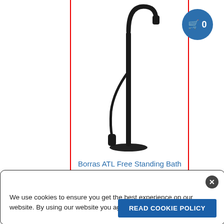[Figure (photo): Black freestanding bath mixer tap/faucet product photo on white background]
Borras ATL Free Standing Bath Mixer Black
Borras
R 8,195.00 (incl. VAT)
Colour Options:
We use cookies to ensure you get the best experience on our website. By using our website you agree to our Cookie Policy.
READ COOKIE POLICY